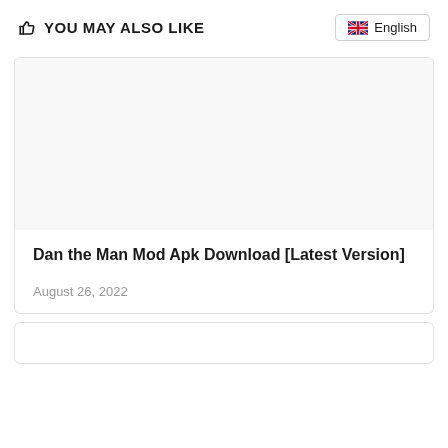YOU MAY ALSO LIKE
English
Dan the Man Mod Apk Download [Latest Version]
August 26, 2022
[Figure (other): Empty card image area placeholder, white/light grey background]